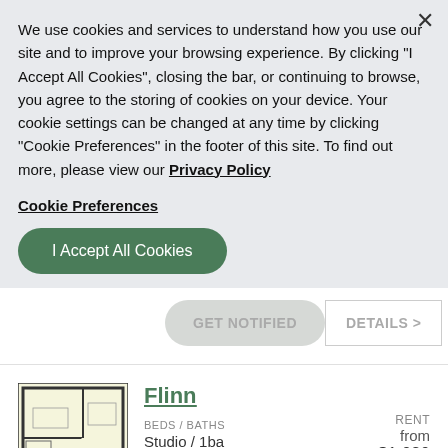We use cookies and services to understand how you use our site and to improve your browsing experience. By clicking "I Accept All Cookies", closing the bar, or continuing to browse, you agree to the storing of cookies on your device. Your cookie settings can be changed at any time by clicking "Cookie Preferences" in the footer of this site. To find out more, please view our Privacy Policy
Cookie Preferences
I Accept All Cookies
GET NOTIFIED
DETAILS >
[Figure (other): Floor plan image for Flinn studio apartment unit]
Flinn
BEDS / BATHS
Studio / 1ba
RENT
from
$1,020